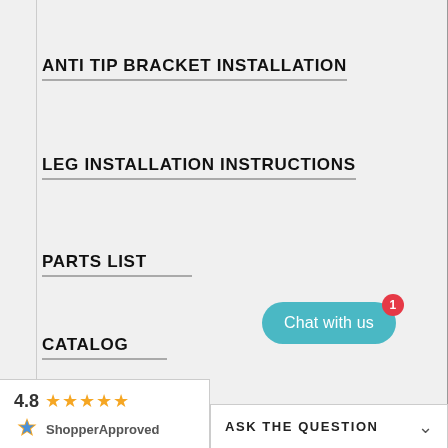ANTI TIP BRACKET INSTALLATION
LEG INSTALLATION INSTRUCTIONS
PARTS LIST
CATALOG
SPEC SHEET
[Figure (screenshot): Shopper Approved widget showing 4.8 star rating with 5 orange stars and ShopperApproved logo]
[Figure (screenshot): Chat with us button (teal rounded rectangle) with red notification badge showing 1]
ASK THE QUESTION